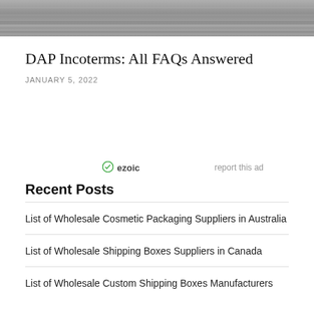[Figure (photo): Grayscale aerial or landscape photo cropped at top]
DAP Incoterms: All FAQs Answered
JANUARY 5, 2022
[Figure (other): Ezoic ad placeholder with 'ezoic' logo and 'report this ad' link]
Recent Posts
List of Wholesale Cosmetic Packaging Suppliers in Australia
List of Wholesale Shipping Boxes Suppliers in Canada
List of Wholesale Custom Shipping Boxes Manufacturers